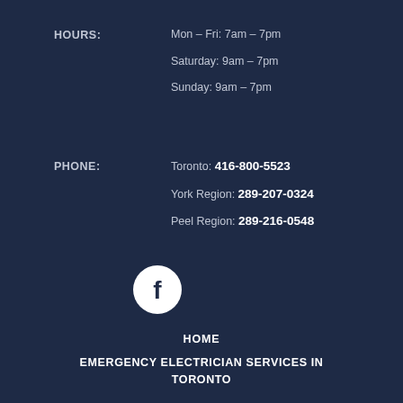HOURS: Mon – Fri: 7am – 7pm
Saturday: 9am – 7pm
Sunday: 9am – 7pm
PHONE: Toronto: 416-800-5523
York Region: 289-207-0324
Peel Region: 289-216-0548
[Figure (logo): White circular Facebook icon button on dark navy background]
HOME
EMERGENCY ELECTRICIAN SERVICES IN TORONTO
SERVICES
LEARNING CENTRE